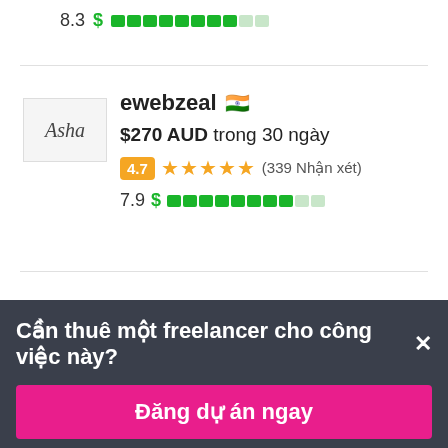8.3 $ ██████████
ewebzeal 🇮🇳
$270 AUD trong 30 ngày
4.7 ★★★★★ (339 Nhận xét)
7.9 $ ████████
Cần thuê một freelancer cho công việc này? ×
Đăng dự án ngay